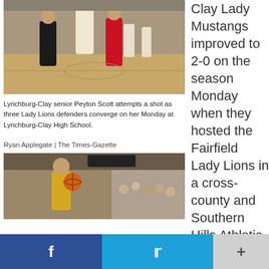[Figure (photo): Basketball game photo: Lynchburg-Clay senior Peyton Scott attempts a shot as three Lady Lions defenders converge on her Monday at Lynchburg-Clay High School.]
Lynchburg-Clay senior Peyton Scott attempts a shot as three Lady Lions defenders converge on her Monday at Lynchburg-Clay High School.
Ryan Applegate | The Times-Gazette
[Figure (photo): Basketball game photo: Player in gold uniform shooting a basketball in a gym with crowd in background.]
Clay Lady Mustangs improved to 2-0 on the season Monday when they hosted the Fairfield Lady Lions in a cross-county and Southern Hills Athletic Conference girls high school basketball
f  t  +